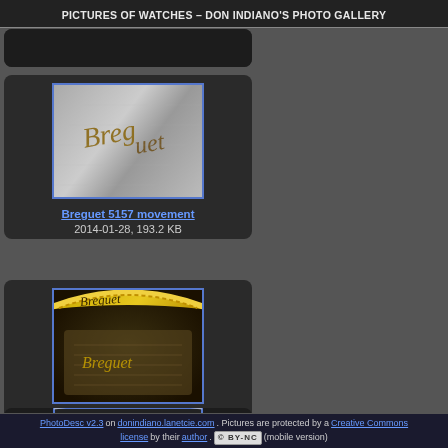PICTURES OF WATCHES – DON INDIANO'S PHOTO GALLERY
[Figure (photo): Partially visible dark photo card at top, cropped]
[Figure (photo): Close-up photo of Breguet watch movement showing engraved Breguet signature on brushed metal]
Breguet 5157 movement
2014-01-28, 193.2 KB
[Figure (photo): Close-up photo of Breguet 5157 watch movement showing gold bezel with engraving and Breguet signature text]
Breguet 5157 movement
2014-01-28, 196.2 KB
[Figure (photo): Partially visible photo card at bottom showing watch dial with Roman numerals and diamond bezel, cropped]
PhotoDesc v2.3 on donindiano.lanetcie.com. Pictures are protected by a Creative Commons license by their author. (CC) BY-NC (mobile version)